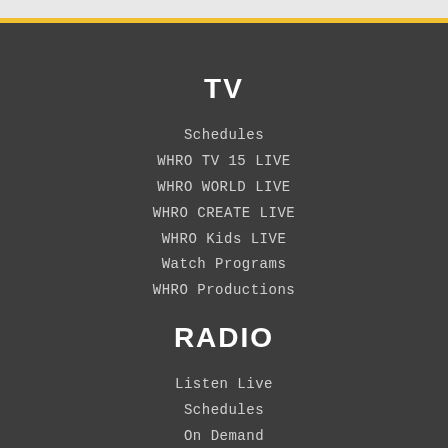TV
Schedules
WHRO TV 15 LIVE
WHRO WORLD LIVE
WHRO CREATE LIVE
WHRO Kids LIVE
Watch Programs
WHRO Productions
RADIO
Listen Live
Schedules
On Demand
Radio Apps
WHRO
Events
Facebook